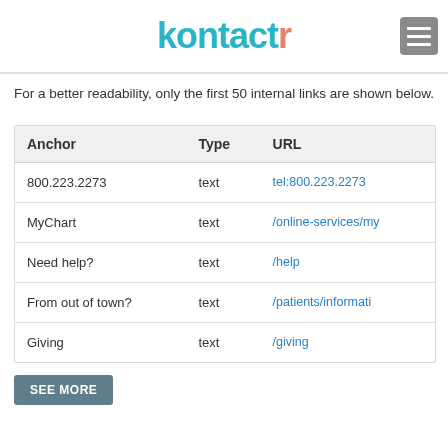kontactr
For a better readability, only the first 50 internal links are shown below.
| Anchor | Type | URL |
| --- | --- | --- |
| 800.223.2273 | text | tel:800.223.2273 |
| MyChart | text | /online-services/my |
| Need help? | text | /help |
| From out of town? | text | /patients/informati |
| Giving | text | /giving |
SEE MORE